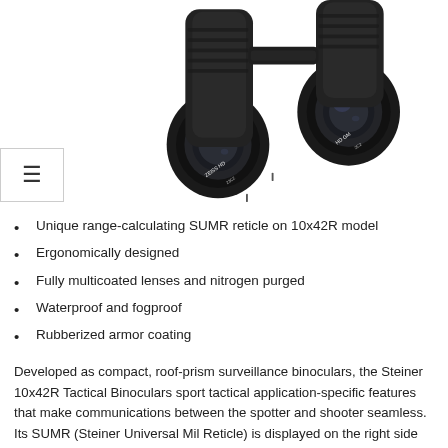[Figure (photo): Close-up photo of Steiner 10x42R tactical binoculars showing large objective lenses from a front-angled view on white background]
Unique range-calculating SUMR reticle on 10x42R model
Ergonomically designed
Fully multicoated lenses and nitrogen purged
Waterproof and fogproof
Rubberized armor coating
Developed as compact, roof-prism surveillance binoculars, the Steiner 10x42R Tactical Binoculars sport tactical application-specific features that make communications between the spotter and shooter seamless. Its SUMR (Steiner Universal Mil Reticle) is displayed on the right side and provides the user a quick reference for judging